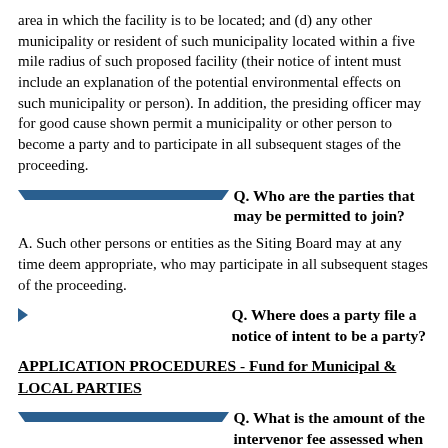area in which the facility is to be located; and (d) any other municipality or resident of such municipality located within a five mile radius of such proposed facility (their notice of intent must include an explanation of the potential environmental effects on such municipality or person). In addition, the presiding officer may for good cause shown permit a municipality or other person to become a party and to participate in all subsequent stages of the proceeding.
Q. Who are the parties that may be permitted to join?
A. Such other persons or entities as the Siting Board may at any time deem appropriate, who may participate in all subsequent stages of the proceeding.
Q. Where does a party file a notice of intent to be a party?
APPLICATION PROCEDURES - Fund for Municipal & LOCAL PARTIES
Q. What is the amount of the intervenor fee assessed when an application is filed?
A. Applicants are assessed an intervenor fee equal to $1,000 for each 1,000 kilowatts (1 megawatt) of generating capacity of the